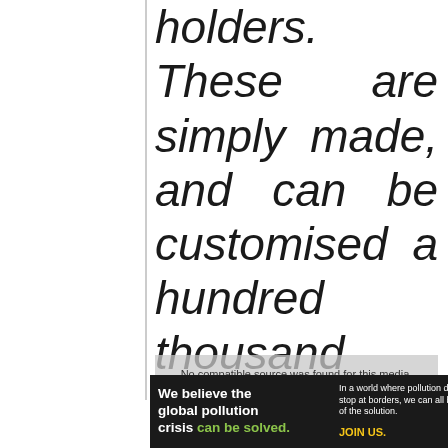holders. These are simply made, and can be customised a hundred thousand ways.
While you're here too, why not take a peek at another
[Figure (other): Video player overlay showing 'No compatible source was found for this media.' error message on a gray semi-transparent background]
[Figure (other): Pure Earth advertisement banner: 'We believe the global pollution crisis can be solved.' with Pure Earth logo showing a diamond/chevron shape symbol]